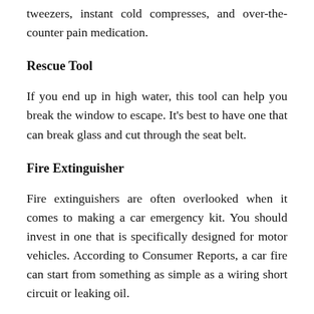tweezers, instant cold compresses, and over-the-counter pain medication.
Rescue Tool
If you end up in high water, this tool can help you break the window to escape. It's best to have one that can break glass and cut through the seat belt.
Fire Extinguisher
Fire extinguishers are often overlooked when it comes to making a car emergency kit. You should invest in one that is specifically designed for motor vehicles. According to Consumer Reports, a car fire can start from something as simple as a wiring short circuit or leaking oil.
If you sustained injuries in a car accident due to another driver's negligence, please contact us to discuss your case.